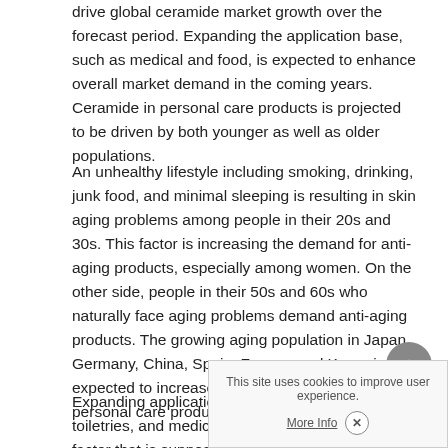drive global ceramide market growth over the forecast period. Expanding the application base, such as medical and food, is expected to enhance overall market demand in the coming years. Ceramide in personal care products is projected to be driven by both younger as well as older populations.
An unhealthy lifestyle including smoking, drinking, junk food, and minimal sleeping is resulting in skin aging problems among people in their 20s and 30s. This factor is increasing the demand for anti-aging products, especially among women. On the other side, people in their 50s and 60s who naturally face aging problems demand anti-aging products. The growing aging population in Japan, Germany, China, Spain, France, and Korea is expected to increase ceramide industry growth for personal care products.
Expanding application base such as in cosmetics, toiletries, and medical treatm... factor that is supposed to augment overall industry growth